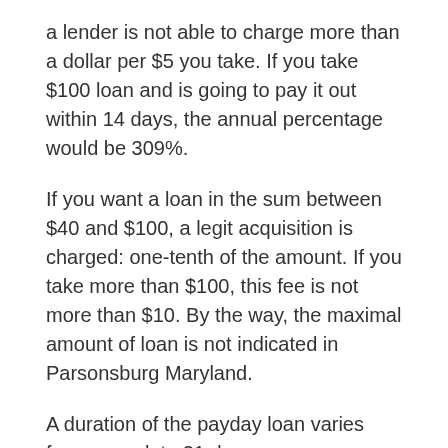a lender is not able to charge more than a dollar per $5 you take. If you take $100 loan and is going to pay it out within 14 days, the annual percentage would be 309%.
If you want a loan in the sum between $40 and $100, a legit acquisition is charged: one-tenth of the amount. If you take more than $100, this fee is not more than $10. By the way, the maximal amount of loan is not indicated in Parsonsburg Maryland.
A duration of the payday loan varies from a week to 31 days.
Requirements for the Application for a Loan in Parsonsburg, Maryland